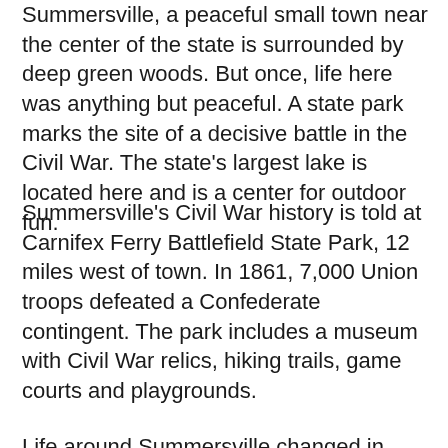Summersville, a peaceful small town near the center of the state is surrounded by deep green woods. But once, life here was anything but peaceful. A state park marks the site of a decisive battle in the Civil War. The state's largest lake is located here and is a center for outdoor fun.
Summersville's Civil War history is told at Carnifex Ferry Battlefield State Park, 12 miles west of town. In 1861, 7,000 Union troops defeated a Confederate contingent. The park includes a museum with Civil War relics, hiking trails, game courts and playgrounds.
Life around Summersville changed in 1966 when the Summersville Dam opened and Summersville Lake was created. The 2,700-acre lake offers a variety of water sports including boating, knee boarding and waterskiing. Scuba-diving and snorkeling are popular